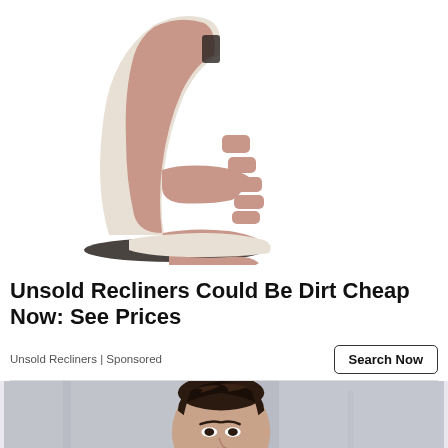[Figure (photo): A modern massage recliner chair in beige/rose-pink color with segmented cushioning, viewed from the side at an angle, on a white background.]
Unsold Recliners Could Be Dirt Cheap Now: See Prices
Unsold Recliners | Sponsored
[Figure (photo): Partial photo of a young woman with braided hair, blurred outdoor background, cropped at bottom of page.]